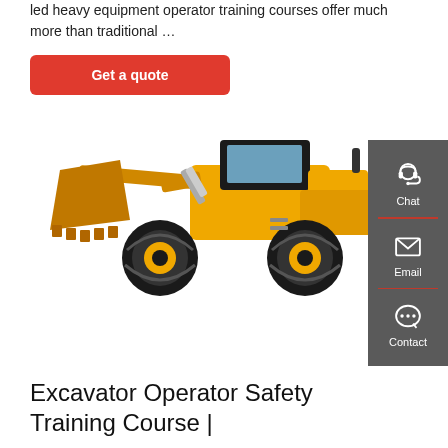led heavy equipment operator training courses offer much more than traditional …
Get a quote
[Figure (photo): Yellow wheel loader / front-end loader construction machine on white background]
[Figure (infographic): Dark grey sidebar with Chat, Email, and Contact icons and labels]
Excavator Operator Safety Training Course |